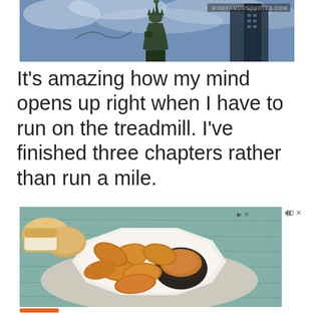[Figure (photo): Photo showing Statue of Liberty and city buildings against a cloudy sky, with watermark 'WISEFAMOUSQUOTES.COM' in top right corner]
It's amazing how my mind opens up right when I have to run on the treadmill. I've finished three chapters rather than run a mile.
[Figure (photo): Advertisement photo showing fried chicken tenders/nuggets on a white octagonal plate with a dipping sauce in a dark bowl, alongside dinner rolls on a teal/wooden background]